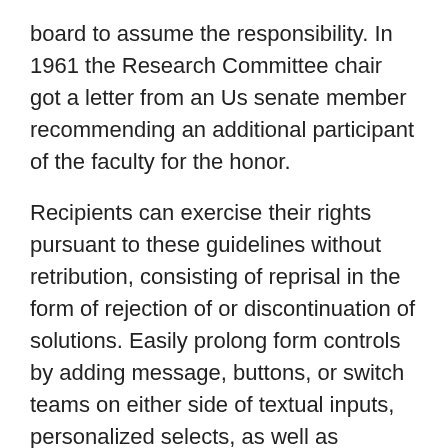board to assume the responsibility. In 1961 the Research Committee chair got a letter from an Us senate member recommending an additional participant of the faculty for the honor.
Recipients can exercise their rights pursuant to these guidelines without retribution, consisting of reprisal in the form of rejection of or discontinuation of solutions. Easily prolong form controls by adding message, buttons, or switch teams on either side of textual inputs, personalized selects, as well as personalized data inputs. We give a vast range of monetary products and technical assistance, as well as we assist nations share as well as apply cutting-edge understanding and also options to the challenges they deal with. With its distinct geography, fascinating culture and also natural charm, France is absolutely among the most interesting places to research or go